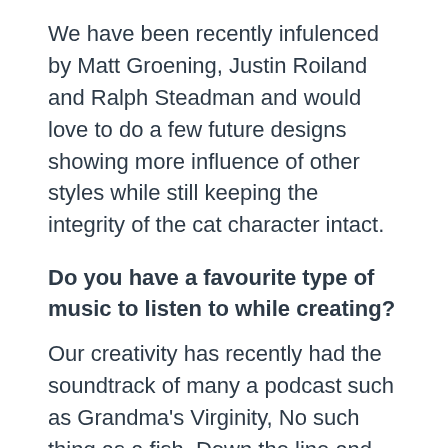We have been recently infulenced by Matt Groening, Justin Roiland and Ralph Steadman and would love to do a few future designs showing more influence of other styles while still keeping the integrity of the cat character intact.
Do you have a favourite type of music to listen to while creating?
Our creativity has recently had the soundtrack of many a podcast such as Grandma's Virginity, No such thing as a fish, Down the line and RHLSTP.
What is your favourite place in Medway?
For us, Rochester castle Gardens is the best place to spend a day sketching and coming up with new ideas along with intermittent cup of fish...